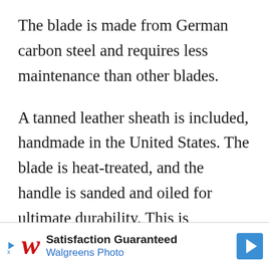The blade is made from German carbon steel and requires less maintenance than other blades.
A tanned leather sheath is included, handmade in the United States. The blade is heat-treated, and the handle is sanded and oiled for ultimate durability. This is Amazon's Choice for forest ax, and it's easy to see why - wielding it will take you back to a simpler time. This felling ax is 3.5 pounds in weight, ensuring it's light to carry
[Figure (other): Walgreens Photo advertisement banner: Satisfaction Guaranteed, Walgreens Photo, with Walgreens cursive logo and a blue direction arrow icon.]